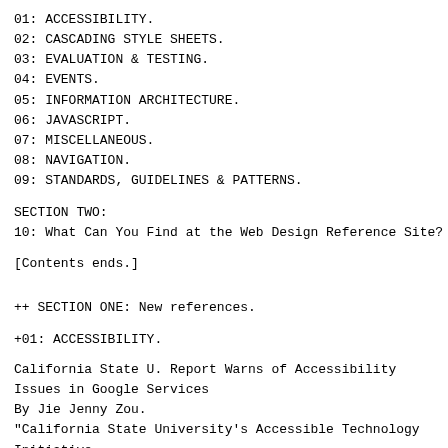01: ACCESSIBILITY.
02: CASCADING STYLE SHEETS.
03: EVALUATION & TESTING.
04: EVENTS.
05: INFORMATION ARCHITECTURE.
06: JAVASCRIPT.
07: MISCELLANEOUS.
08: NAVIGATION.
09: STANDARDS, GUIDELINES & PATTERNS.
SECTION TWO:
10: What Can You Find at the Web Design Reference Site?
[Contents ends.]
++ SECTION ONE: New references.
+01: ACCESSIBILITY.
California State U. Report Warns of Accessibility
Issues in Google Services
By Jie Jenny Zou.
"California State University's Accessible Technology
Initiative
suggests in a report released this week that
universities limit their
campuswide use of Google's free Web services based on
what it calls a
variety of inaccessibility issues for the blind and